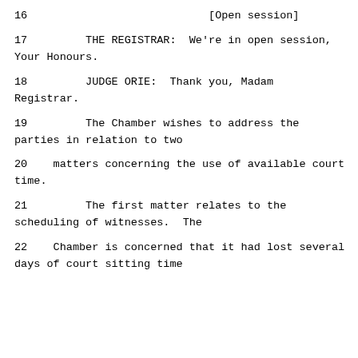16                            [Open session]
17         THE REGISTRAR:  We're in open session, Your Honours.
18         JUDGE ORIE:  Thank you, Madam Registrar.
19         The Chamber wishes to address the parties in relation to two
20    matters concerning the use of available court time.
21         The first matter relates to the scheduling of witnesses.  The
22    Chamber is concerned that it had lost several days of court sitting time